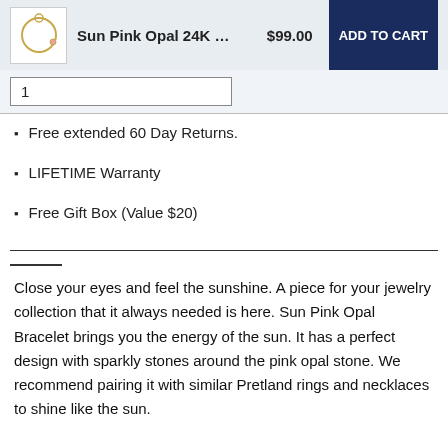[Figure (photo): Product thumbnail of Sun Pink Opal 24K bracelet]
Sun Pink Opal 24K …  $99.00  ADD TO CART
1
Free extended 60 Day Returns.
LIFETIME Warranty
Free Gift Box (Value $20)
Close your eyes and feel the sunshine. A piece for your jewelry collection that it always needed is here. Sun Pink Opal Bracelet brings you the energy of the sun. It has a perfect design with sparkly stones around the pink opal stone. We recommend pairing it with similar Pretland rings and necklaces to shine like the sun.